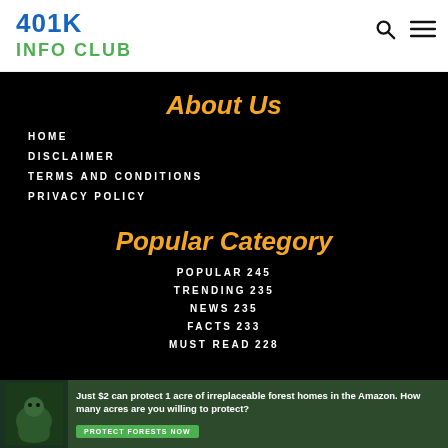401K INFO CLUB
About Us
HOME
DISCLAIMER
TERMS AND CONDITIONS
PRIVACY POLICY
Popular Category
POPULAR 245
TRENDING 235
NEWS 235
FACTS 233
MUST READ 228
[Figure (other): Advertisement banner: Just $2 can protect 1 acre of irreplaceable forest homes in the Amazon. How many acres are you willing to protect? PROTECT FORESTS NOW]